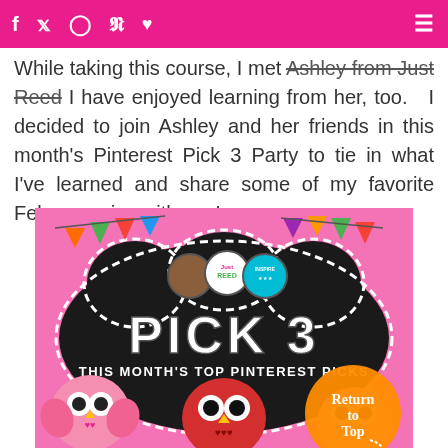f  t  [instagram]  p  [heart]  [hamburger menu]
While taking this course, I met Ashley from Just Reed I have enjoyed learning from her, too.   I decided to join Ashley and her friends in this month's Pinterest Pick 3 Party to tie in what I've learned and share some of my favorite February pins with you!
[Figure (illustration): Promotional graphic for 'Pick 3 - This Month's Top Pinterest Picks' featuring cartoon owls on a pink background with a chalkboard-style sign, colorful bunting banners, and blog logos. An orange 'Return to Top' button overlays the bottom right corner.]